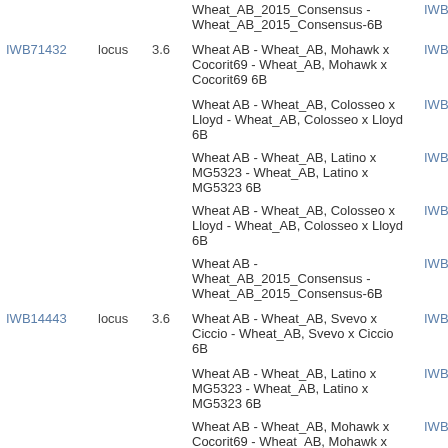| ID | Type | Value | Description | Link |
| --- | --- | --- | --- | --- |
|  |  |  | Wheat AB - Wheat_AB_2015_Consensus - Wheat_AB_2015_Consensus-6B | IWB |
| IWB71432 | locus | 3.6 | Wheat AB - Wheat_AB, Mohawk x Cocorit69 - Wheat_AB, Mohawk x Cocorit69 6B | IWB |
|  |  |  | Wheat AB - Wheat_AB, Colosseo x Lloyd - Wheat_AB, Colosseo x Lloyd 6B | IWB |
|  |  |  | Wheat AB - Wheat_AB, Latino x MG5323 - Wheat_AB, Latino x MG5323 6B | IWB |
|  |  |  | Wheat AB - Wheat_AB, Colosseo x Lloyd - Wheat_AB, Colosseo x Lloyd 6B | IWB |
|  |  |  | Wheat AB - Wheat_AB_2015_Consensus - Wheat_AB_2015_Consensus-6B | IWB |
| IWB14443 | locus | 3.6 | Wheat AB - Wheat_AB, Svevo x Ciccio - Wheat_AB, Svevo x Ciccio 6B | IWB |
|  |  |  | Wheat AB - Wheat_AB, Latino x MG5323 - Wheat_AB, Latino x MG5323 6B | IWB |
|  |  |  | Wheat AB - Wheat_AB, Mohawk x Cocorit69 - Wheat_AB, Mohawk x | IWB |